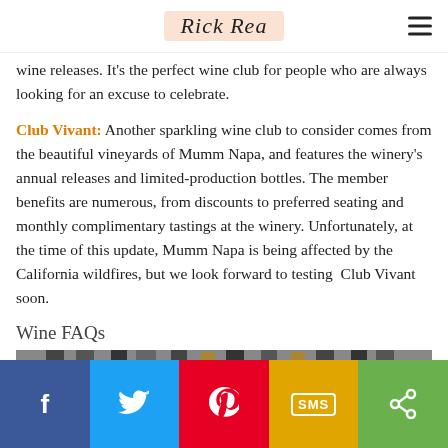Rick Rea
wine releases. It's the perfect wine club for people who are always looking for an excuse to celebrate.
Club Vivant: Another sparkling wine club to consider comes from the beautiful vineyards of Mumm Napa, and features the winery's annual releases and limited-production bottles. The member benefits are numerous, from discounts to preferred seating and monthly complimentary tastings at the winery. Unfortunately, at the time of this update, Mumm Napa is being affected by the California wildfires, but we look forward to testing Club Vivant soon.
Wine FAQs
[Figure (photo): Photo strip of wine bottles]